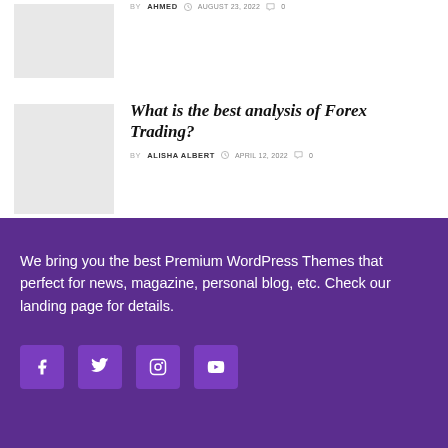BY AHMED  AUGUST 23, 2022  0
What is the best analysis of Forex Trading?
BY ALISHA ALBERT  APRIL 12, 2022  0
We bring you the best Premium WordPress Themes that perfect for news, magazine, personal blog, etc. Check our landing page for details.
[Figure (illustration): Social media icons: Facebook, Twitter, Instagram, YouTube]